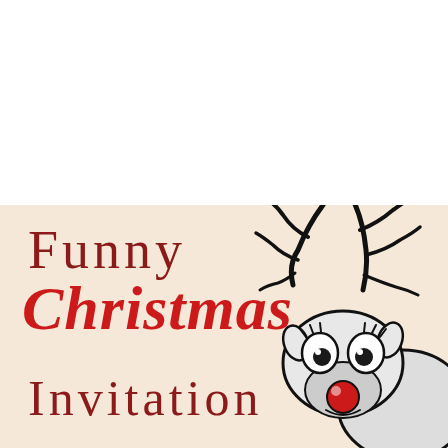[Figure (illustration): Christmas card design with cream/beige background. Large text reads 'Funny Christmas Invitation' with a cartoon reindeer illustration in the upper right — the reindeer head is peeking in from the right side, with wild antlers, big round eyes, and a red nose.]